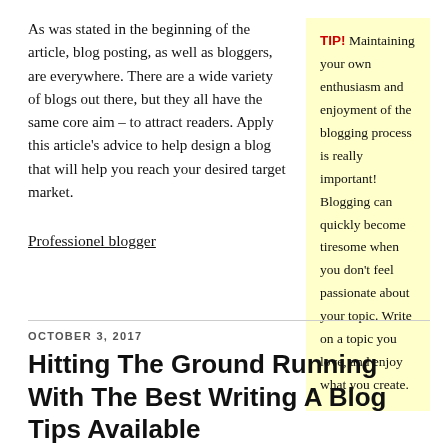As was stated in the beginning of the article, blog posting, as well as bloggers, are everywhere. There are a wide variety of blogs out there, but they all have the same core aim – to attract readers. Apply this article's advice to help design a blog that will help you reach your desired target market.
TIP! Maintaining your own enthusiasm and enjoyment of the blogging process is really important! Blogging can quickly become tiresome when you don't feel passionate about your topic. Write on a topic you love, and enjoy what you create.
Professionel blogger
OCTOBER 3, 2017
Hitting The Ground Running With The Best Writing A Blog Tips Available